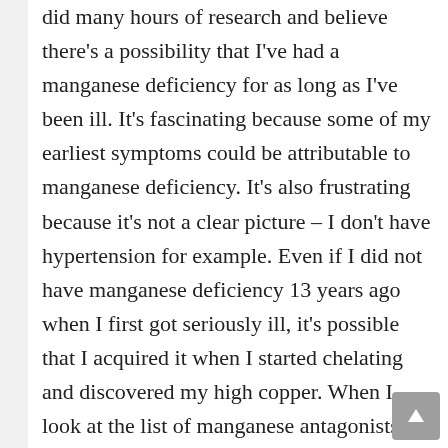did many hours of research and believe there's a possibility that I've had a manganese deficiency for as long as I've been ill. It's fascinating because some of my earliest symptoms could be attributable to manganese deficiency. It's also frustrating because it's not a clear picture – I don't have hypertension for example. Even if I did not have manganese deficiency 13 years ago when I first got seriously ill, it's possible that I acquired it when I started chelating and discovered my high copper. When I look at the list of manganese antagonists, I'm taking a great many of them including high doses of zinc to reduce copper. It also turns out that manganese is used to reduce copper so potentially very useful for me. I did do a very minimal test with manganese taking only 11 mg once a week, which I now see